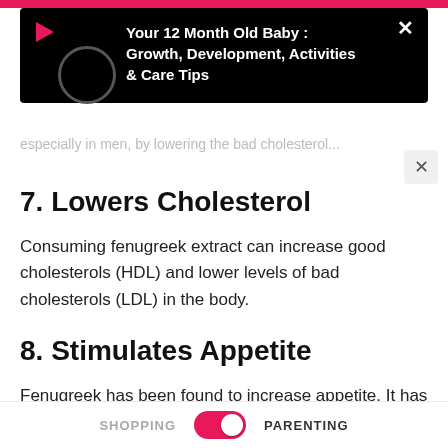[Figure (screenshot): Black notification overlay showing 'Your 12 Month Old Baby : Growth, Development, Activities & Care Tips' with a play button icon and loading circle]
7. Lowers Cholesterol
Consuming fenugreek extract can increase good cholesterols (HDL) and lower levels of bad cholesterols (LDL) in the body.
8. Stimulates Appetite
Fenugreek has been found to increase appetite. It has been recommended as a natural appetite stimulant for people with
SHOPPING    PARENTING